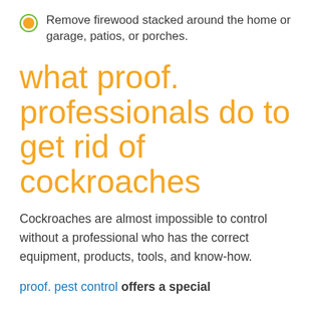Remove firewood stacked around the home or garage, patios, or porches.
what proof. professionals do to get rid of cockroaches
Cockroaches are almost impossible to control without a professional who has the correct equipment, products, tools, and know-how.
proof. pest control offers a special